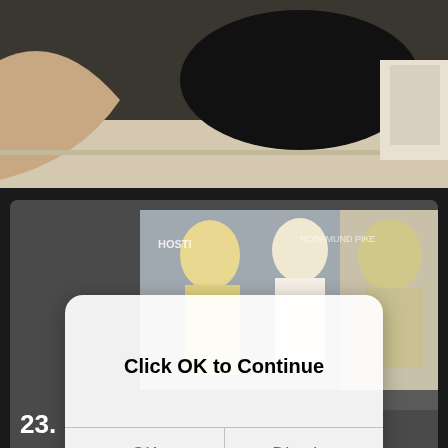[Figure (photo): Top portion of a photo showing a person bending down near a floor, cropped at the top of the page]
[Figure (screenshot): A smartphone-style dialog box overlaid on a photo of people at an event with 'HOSTI' text visible. The dialog reads 'Click OK to Continue' with two blue buttons: 'OK' and 'Dismiss']
51 Hottest Rosamund Pike Big Butt Pictures Uncover Her Attractive Assets
23.